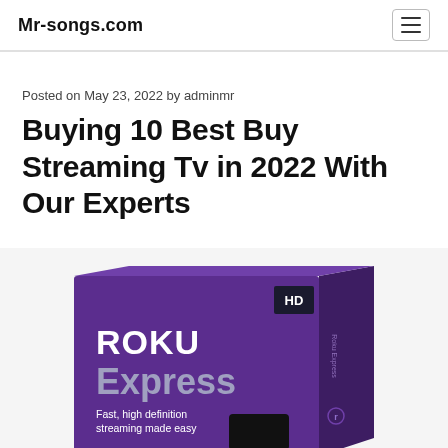Mr-songs.com
Posted on May 23, 2022 by adminmr
Buying 10 Best Buy Streaming Tv in 2022 With Our Experts
[Figure (photo): Roku Express HD streaming device product box — purple box with 'ROKU Express' branding, 'HD' badge, and tagline 'Fast, high definition streaming made easy']